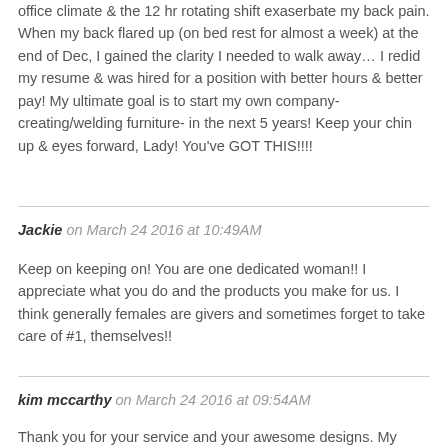office climate & the 12 hr rotating shift exaserbate my back pain. When my back flared up (on bed rest for almost a week) at the end of Dec, I gained the clarity I needed to walk away… I redid my resume & was hired for a position with better hours & better pay! My ultimate goal is to start my own company-creating/welding furniture- in the next 5 years! Keep your chin up & eyes forward, Lady! You've GOT THIS!!!!
Jackie on March 24 2016 at 10:49AM
Keep on keeping on! You are one dedicated woman!! I appreciate what you do and the products you make for us. I think generally females are givers and sometimes forget to take care of #1, themselves!!
kim mccarthy on March 24 2016 at 09:54AM
Thank you for your service and your awesome designs. My daughter ( Specialist Martha